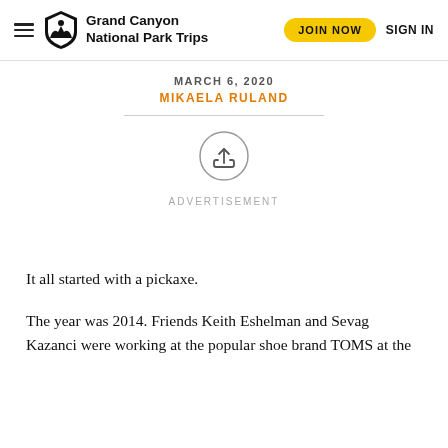Grand Canyon National Park Trips
MARCH 6, 2020
MIKAELA RULAND
[Figure (illustration): Share/upload icon inside a circle]
ADVERTISEMENT
It all started with a pickaxe.
The year was 2014. Friends Keith Eshelman and Sevag Kazanci were working at the popular shoe brand TOMS at the